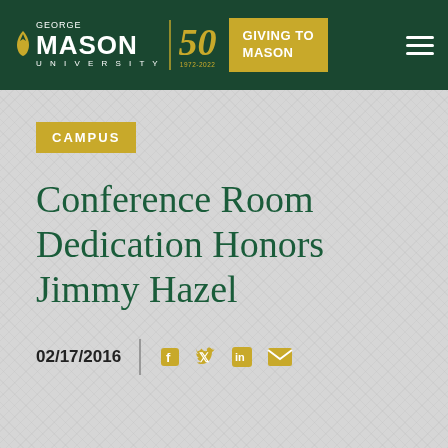[Figure (logo): George Mason University logo with 50th anniversary badge (1972-2022) and 'Giving to Mason' button in dark green header bar]
CAMPUS
Conference Room Dedication Honors Jimmy Hazel
02/17/2016